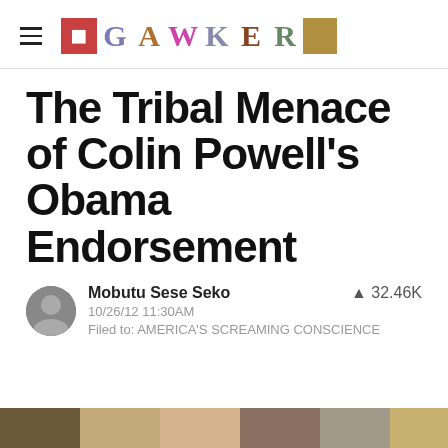GAWKER
The Tribal Menace of Colin Powell's Obama Endorsement
Mobutu Sese Seko  32.46K
10/26/12 11:30AM
Filed to: AMERICA'S SCREAMING CONSCIENCE
[Figure (photo): Partial image strip at bottom of page]